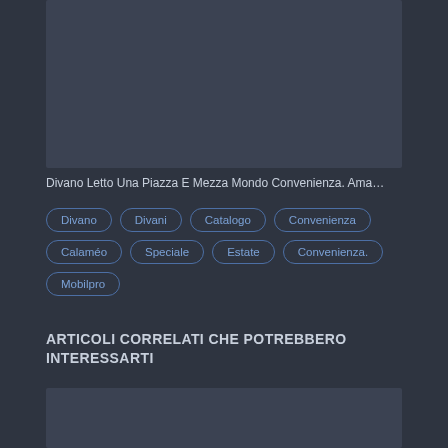[Figure (photo): Dark placeholder image area at top]
Divano Letto Una Piazza E Mezza Mondo Convenienza. Ama…
Divano
Divani
Catalogo
Convenienza
Calaméo
Speciale
Estate
Convenienza.
Mobilpro
ARTICOLI CORRELATI CHE POTREBBERO INTERESSARTI
[Figure (photo): Dark placeholder image area at bottom]